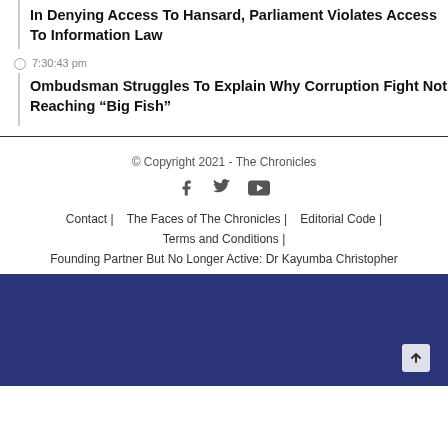In Denying Access To Hansard, Parliament Violates Access To Information Law
7:30:43 pm
Ombudsman Struggles To Explain Why Corruption Fight Not Reaching “Big Fish”
© Copyright 2021 - The Chronicles
Contact | The Faces of The Chronicles | Editorial Code | Terms and Conditions |
Founding Partner But No Longer Active: Dr Kayumba Christopher